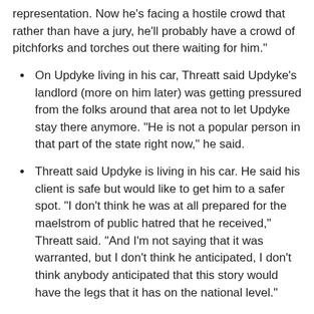representation. Now he's facing a hostile crowd that rather than have a jury, he'll probably have a crowd of pitchforks and torches out there waiting for him."
On Updyke living in his car, Threatt said Updyke's landlord (more on him later) was getting pressured from the folks around that area not to let Updyke stay there anymore. "He is not a popular person in that part of the state right now," he said.
Threatt said Updyke is living in his car. He said his client is safe but would like to get him to a safer spot. "I don't think he was at all prepared for the maelstrom of public hatred that he received," Threatt said. "And I'm not saying that it was warranted, but I don't think he anticipated, I don't think anybody anticipated that this story would have the legs that it has on the national level."
What has Updyke told him? "I can tell you that he told me that he told you that he did it," Threatt said. "And he told the police something different. I don't know